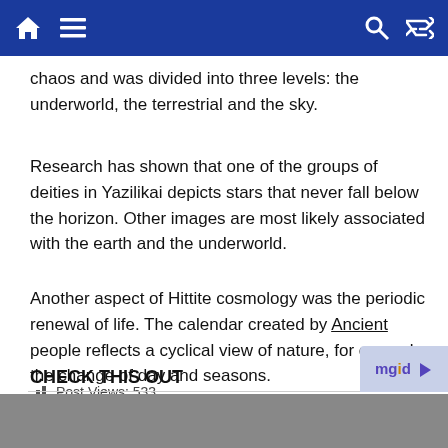Navigation bar with home, menu, search, shuffle icons
chaos and was divided into three levels: the underworld, the terrestrial and the sky.
Research has shown that one of the groups of deities in Yazilikai depicts stars that never fall below the horizon. Other images are most likely associated with the earth and the underworld.
Another aspect of Hittite cosmology was the periodic renewal of life. The calendar created by Ancient people reflects a cyclical view of nature, for example, the change of day and seasons.
Post Views: 533
[Figure (other): Social share buttons: Facebook, Twitter, Email, More (+)]
CHECK THIS OUT
[Figure (photo): Bottom image strip, partially visible]